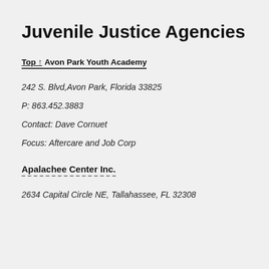Juvenile Justice Agencies
Top ↑ Avon Park Youth Academy
242 S. Blvd,Avon Park, Florida 33825
P: 863.452.3883
Contact: Dave Cornuet
Focus: Aftercare and Job Corp
Apalachee Center Inc.
2634 Capital Circle NE, Tallahassee, FL 32308